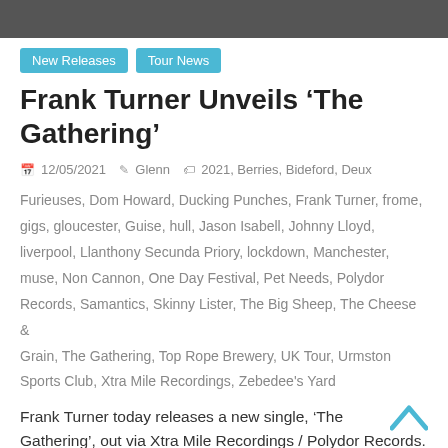[Figure (photo): Top banner image showing a dark outdoor/crowd scene]
New Releases
Tour News
Frank Turner Unveils ‘The Gathering’
12/05/2021   Glenn   2021, Berries, Bideford, Deux Furieuses, Dom Howard, Ducking Punches, Frank Turner, frome, gigs, gloucester, Guise, hull, Jason Isabell, Johnny Lloyd, liverpool, Llanthony Secunda Priory, lockdown, Manchester, muse, Non Cannon, One Day Festival, Pet Needs, Polydor Records, Samantics, Skinny Lister, The Big Sheep, The Cheese & Grain, The Gathering, Top Rope Brewery, UK Tour, Urmston Sports Club, Xtra Mile Recordings, Zebedee's Yard
Frank Turner today releases a new single, ‘The Gathering’, out via Xtra Mile Recordings / Polydor Records. His first new music in nearly two
Read more